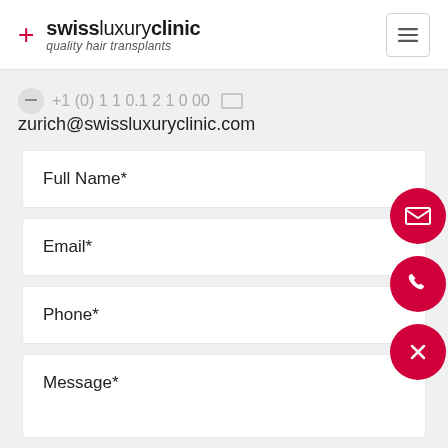swissluxuryclinic quality hair transplants
zurich@swissluxuryclinic.com
Full Name*
Email*
Phone*
Message*